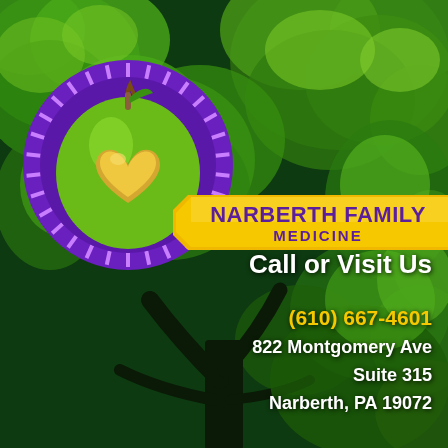[Figure (logo): Narberth Family Medicine logo: green apple with golden heart, in a purple circular badge on a yellow banner, set against a dark green tree background]
NARBERTH FAMILY MEDICINE
Call or Visit Us
(610) 667-4601
822 Montgomery Ave
Suite 315
Narberth, PA 19072